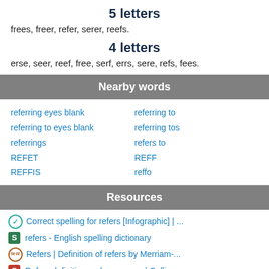5 letters
frees, freer, refer, serer, reefs.
4 letters
erse, seer, reef, free, serf, errs, sere, refs, fees.
Nearby words
referring eyes blank
referring to eyes blank
referrings
REFET
REFFIS
referring to
referring tos
refers to
REFF
reffo
Resources
Correct spelling for refers [Infographic] | ...
refers - English spelling dictionary
Refers | Definition of refers by Merriam-...
Refers definition and synonyms | Collins ...